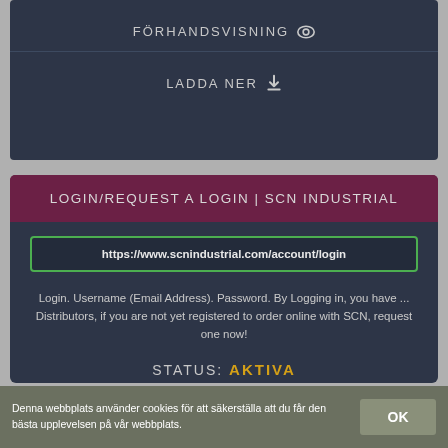FÖRHANDSVISNING
LADDA NER
LOGIN/REQUEST A LOGIN | SCN INDUSTRIAL
https://www.scnindustrial.com/account/login
Login. Username (Email Address). Password. By Logging in, you have ... Distributors, if you are not yet registered to order online with SCN, request one now!
STATUS: AKTIVA
FÖRHANDSVISNING
LADDA NER
Denna webbplats använder cookies för att säkerställa att du får den bästa upplevelsen på vår webbplats.